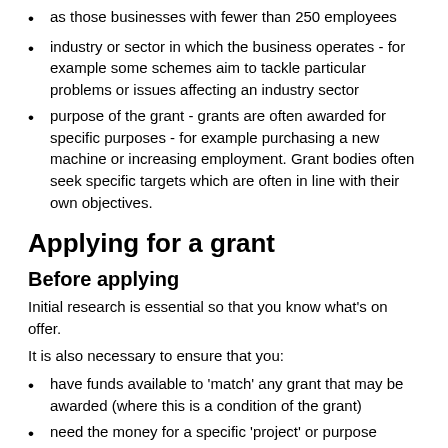as those businesses with fewer than 250 employees
industry or sector in which the business operates - for example some schemes aim to tackle particular problems or issues affecting an industry sector
purpose of the grant - grants are often awarded for specific purposes - for example purchasing a new machine or increasing employment. Grant bodies often seek specific targets which are often in line with their own objectives.
Applying for a grant
Before applying
Initial research is essential so that you know what’s on offer.
It is also necessary to ensure that you:
have funds available to ‘match’ any grant that may be awarded (where this is a condition of the grant)
need the money for a specific ‘project’ or purpose
have a business plan